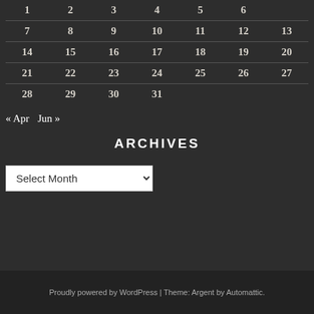|  |  |  |  |  |  |  |
| --- | --- | --- | --- | --- | --- | --- |
| 1 | 2 | 3 | 4 | 5 | 6 |  |
| 7 | 8 | 9 | 10 | 11 | 12 | 13 |
| 14 | 15 | 16 | 17 | 18 | 19 | 20 |
| 21 | 22 | 23 | 24 | 25 | 26 | 27 |
| 28 | 29 | 30 | 31 |  |  |  |
« Apr  Jun »
ARCHIVES
Select Month
Proudly powered by WordPress | Theme: Argent by Automattic.